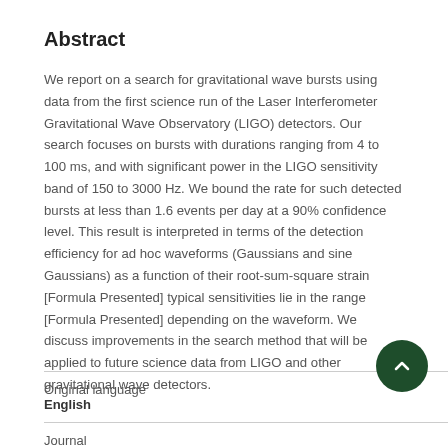Abstract
We report on a search for gravitational wave bursts using data from the first science run of the Laser Interferometer Gravitational Wave Observatory (LIGO) detectors. Our search focuses on bursts with durations ranging from 4 to 100 ms, and with significant power in the LIGO sensitivity band of 150 to 3000 Hz. We bound the rate for such detected bursts at less than 1.6 events per day at a 90% confidence level. This result is interpreted in terms of the detection efficiency for ad hoc waveforms (Gaussians and sine Gaussians) as a function of their root-sum-square strain [Formula Presented] typical sensitivities lie in the range [Formula Presented] depending on the waveform. We discuss improvements in the search method that will be applied to future science data from LIGO and other gravitational wave detectors.
Original language
English
Journal